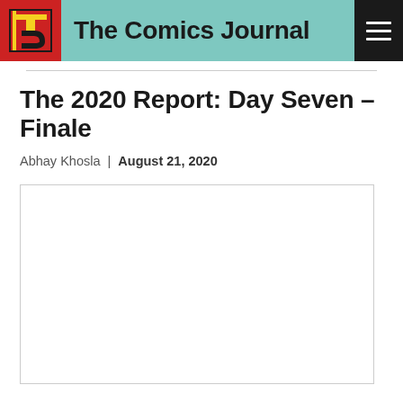The Comics Journal
The 2020 Report: Day Seven – Finale
Abhay Khosla | August 21, 2020
[Figure (photo): Large image placeholder with white background and light gray border]